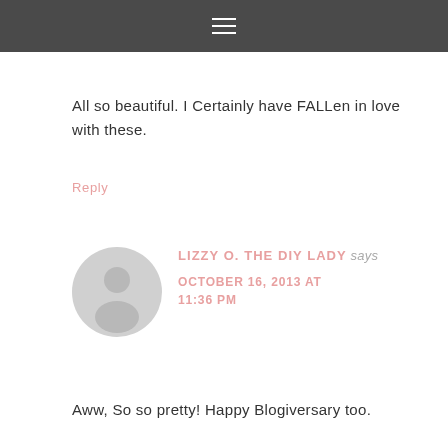≡
All so beautiful. I Certainly have FALLen in love with these.
Reply
[Figure (illustration): Circular avatar placeholder with grey silhouette of a person]
LIZZY O. THE DIY LADY says
OCTOBER 16, 2013 AT 11:36 PM
Aww, So so pretty! Happy Blogiversary too.
Reply